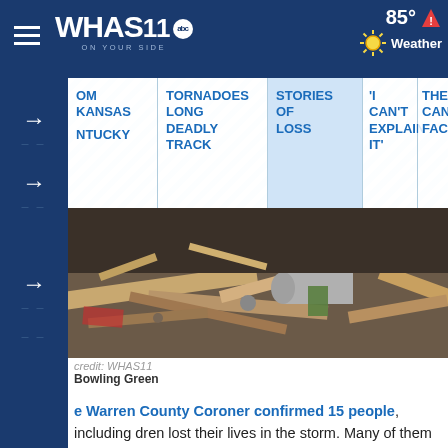WHAS11 abc ON YOUR SIDE | 85° Weather
OM KANSAS | TORNADOES LONG DEADLY TRACK | STORIES OF LOSS | 'I CAN'T EXPLAIN IT' | THE CAND FACT
[Figure (photo): Tornado destruction debris field in Bowling Green, Kentucky - piles of wood, rubble, sheet metal debris]
credit: WHAS11
Bowling Green
e Warren County Coroner confirmed 15 people, including dren lost their lives in the storm. Many of them were in Jennings Creek neighborhood, which officials called one he hardest-hit areas of the city.